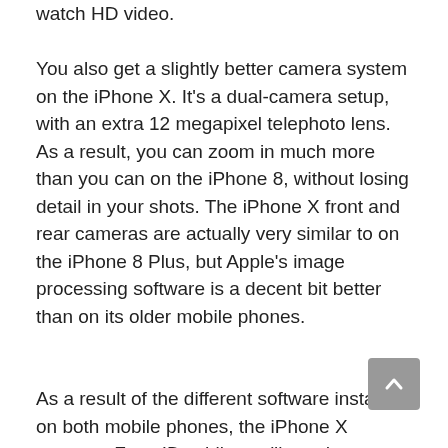watch HD video.
You also get a slightly better camera system on the iPhone X. It's a dual-camera setup, with an extra 12 megapixel telephoto lens. As a result, you can zoom in much more than you can on the iPhone 8, without losing detail in your shots. The iPhone X front and rear cameras are actually very similar to on the iPhone 8 Plus, but Apple's image processing software is a decent bit better than on its older mobile phones.
As a result of the different software installed on both mobile phones, the iPhone X supports Face ID, while you'll need to use Touch ID to unlock your iPhone 8.
When it comes to performance, these two phones